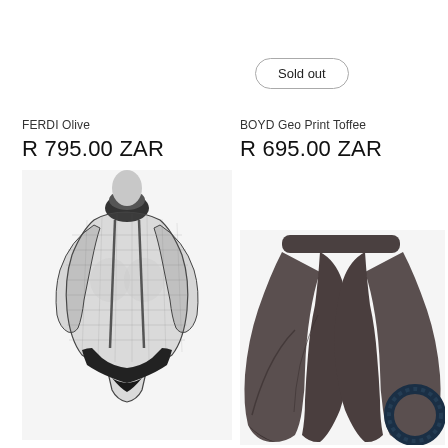Sold out
FERDI Olive
R 795.00 ZAR
BOYD Geo Print Toffee
R 695.00 ZAR
[Figure (photo): Black sheer mesh turtleneck long-sleeve bodysuit on a mannequin, with black underwear bottom]
[Figure (photo): Dark grey/brown wide-leg draped pants with asymmetric wrap front detail, with a navy rope circle accessory at bottom right]